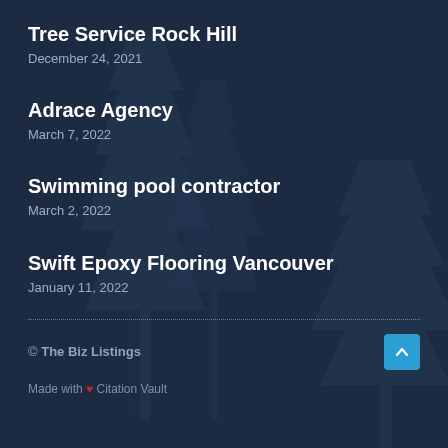Tree Service Rock Hill
December 24, 2021
Adrace Agency
March 7, 2022
Swimming pool contractor
March 2, 2022
Swift Epoxy Flooring Vancouver
January 11, 2022
© The Biz Listings
Made with ❤ Citation Vault